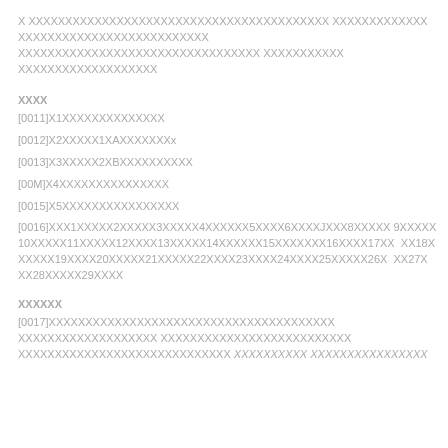X XXXXXXXXXXXXXXXXXXXXXXXXXXXXXXXXXXXXXXXXX XXXXXXXXXXXXX XXXXXXXXXXXXXXXXXXXXXXXXXX XXXXXXXXXXXXXXXXXXXXXXXXXXXXXXXXX XXXXXXXXXXX XXXXXXXXXXXXXXXXXXX
XXXX
[0011]X1XXXXXXXXXXXXXX
[0012]X2XXXXX1XAXXXXXXXx
[0013]X3XXXXX2XBXXXXXXXXXX
[00M]X4XXXXXXXXXXXXXXX
[0015]X5XXXXXXXXXXXXXXXX
[0016]XXX1XXXXX2XXXXX3XXXXX4XXXXXX5XXXX6XXXXJXXX8XXXXX 9XXXXX10XXXXX11XXXXX12XXXX13XXXXX14XXXXXX15XXXXXXX16XXXX17XX XX18XXXXXX19XXXX20XXXXX21XXXXX22XXXX23XXXX24XXXX25XXXXX26X XX27X XX28XXXXX29XXXX
XXXXXX
[0017]XXXXXXXXXXXXXXXXXXXXXXXXXXXXXXXXXXXXXXX XXXXXXXXXXXXXXXXXXX XXXXXXXXXXXXXXXXXXXXXXXXXX XXXXXXXXXXXXXXXXXXXXXXXXXXXXX XXXXXXXXXX XXXXXXXXXXXXXXXX